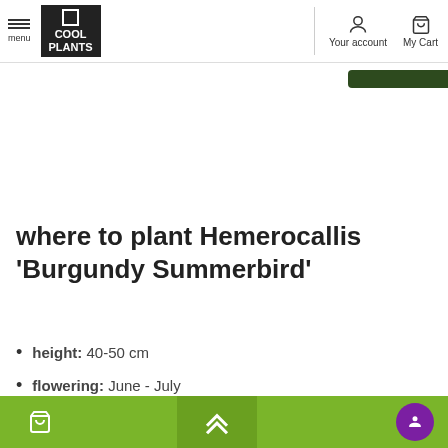Cool Plants — menu, Your account, My Cart
where to plant Hemerocallis 'Burgundy Summerbird'
height: 40-50 cm
flowering: June - July
color: brown red  yellow  Burgundy
Cart | Up arrow | Chat